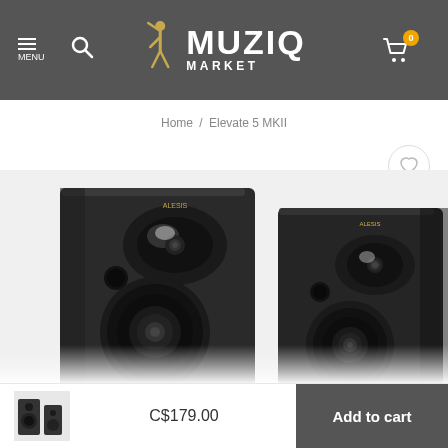MUZIQ MARKET
Home / Elevate 5 MKII
[Figure (photo): Two black studio monitor speakers (Alesis Elevate 5 MKII) shown from a front-angle perspective, close-up view showing tweeter and woofer drivers.]
C$179.00
Add to cart